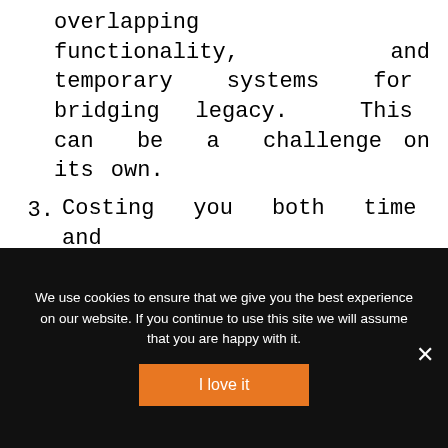overlapping functionality, and temporary systems for bridging legacy. This can be a challenge on its own.
3. Costing you both time and money, application modernization can be an expensive exercise. You need to make significant investments and dedicate a considerable
We use cookies to ensure that we give you the best experience on our website. If you continue to use this site we will assume that you are happy with it.